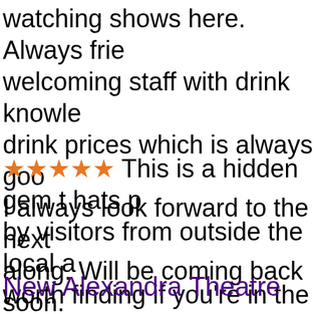watching shows here. Always frie welcoming staff with drink knowle drink prices which is always goo I always look forward to the next along. Will be coming back soon.
★★★★★ This is a hidden gem t hats p by visitors from outside the local a worth finding if you're in the area. make it great have heart and a tru dance, and music. The acoustics
New Alexandra Theatre